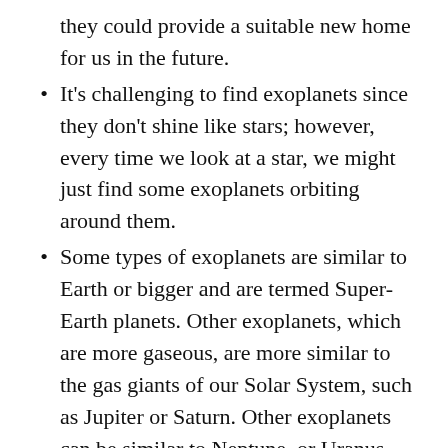they could provide a suitable new home for us in the future.
It's challenging to find exoplanets since they don't shine like stars; however, every time we look at a star, we might just find some exoplanets orbiting around them.
Some types of exoplanets are similar to Earth or bigger and are termed Super-Earth planets. Other exoplanets, which are more gaseous, are more similar to the gas giants of our Solar System, such as Jupiter or Saturn. Other exoplanets can be similar to Neptune, or Uranus, our Solar System's ice giants.
We know about exoplanets, planets